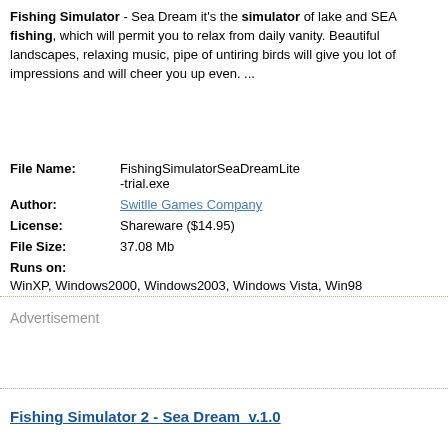Fishing Simulator - Sea Dream it's the simulator of lake and SEA fishing, which will permit you to relax from daily vanity. Beautiful landscapes, relaxing music, pipe of untiring birds will give you lot of impressions and will cheer you up even. ...
| File Name: | FishingSimulatorSeaDreamLite-trial.exe |
| Author: | Switlle Games Company |
| License: | Shareware ($14.95) |
| File Size: | 37.08 Mb |
| Runs on: | WinXP, Windows2000, Windows2003, Windows Vista, Win98 |
Advertisement
Fishing Simulator 2 - Sea Dream  v.1.0